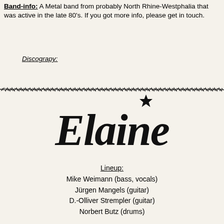Band-info: A Metal band from probably North Rhine-Westphalia that was active in the late 80's. If you got more info, please get in touch.
Discograpy:
[Figure (illustration): Decorative jagged/rough horizontal divider line]
[Figure (logo): Elaine band logo in large cursive/script lettering with a star symbol above the 'ne']
Lineup:
Mike Weimann (bass, vocals)
Jürgen Mangels (guitar)
D.-Olliver Strempler (guitar)
Norbert Butz (drums)